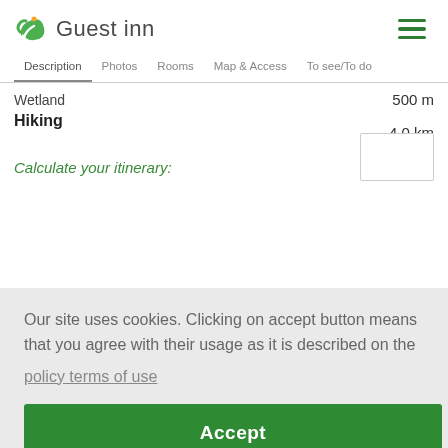Guest inn
Description | Photos | Rooms | Map & Access | To see/To do
Wetland
500 m
Hiking
4.0 km
Calculate your itinerary:
Our site uses cookies. Clicking on accept button means that you agree with their usage as it is described on the
policy terms of use
Accept
owners, qualified guides or on your own, starting from your place